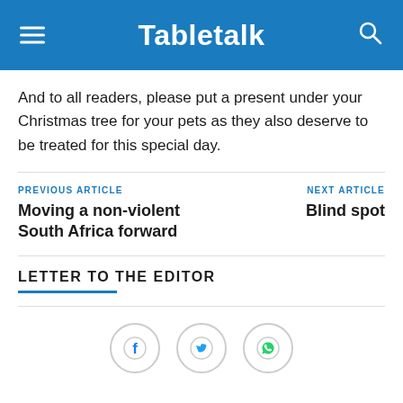Tabletalk
And to all readers, please put a present under your Christmas tree for your pets as they also deserve to be treated for this special day.
PREVIOUS ARTICLE
Moving a non-violent South Africa forward
NEXT ARTICLE
Blind spot
LETTER TO THE EDITOR
[Figure (other): Social share buttons: Facebook, Twitter, WhatsApp]